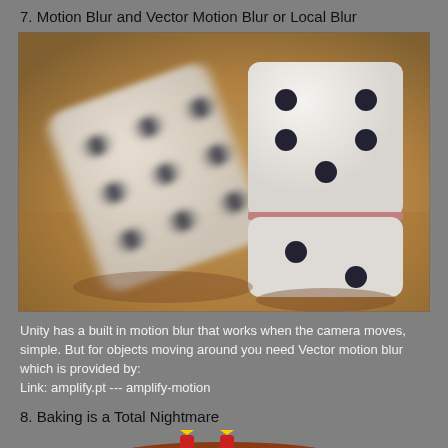7. Motion Blur and Vector Motion Blur or Local Blur
[Figure (photo): Two white dice on a warm golden/tan surface. The left die is motion-blurred, indicating movement, while the right die is in sharp focus showing 5 dots on its face.]
Unity has a built in motion blur that works when the camera moves, simple. But for objects moving around you need Vector motion blur which is provided by:
Link: amplify.pt --- amplify-motion
8. Baking is a Total Nightmare
[Figure (photo): Bottom portion of an image showing what appears to be a chocolate cake with red candles or decorations, partially visible at the bottom of the page.]